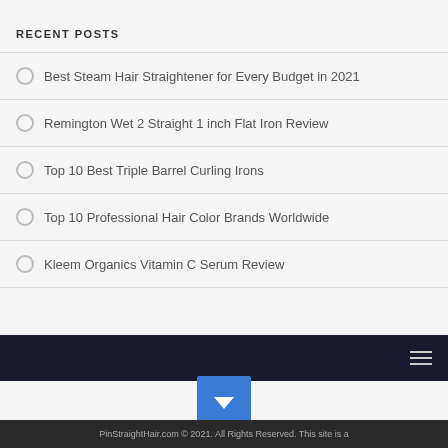RECENT POSTS
Best Steam Hair Straightener for Every Budget in 2021
Remington Wet 2 Straight 1 inch Flat Iron Review
Top 10 Best Triple Barrel Curling Irons
Top 10 Professional Hair Color Brands Worldwide
Kleem Organics Vitamin C Serum Review
PinStraightHair.com © 2021. All Rights Reserved. This site is a